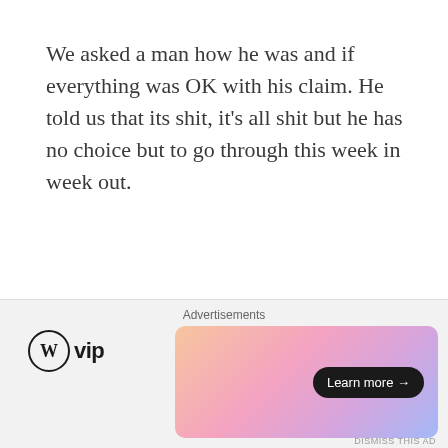We asked a man how he was and if everything was OK with his claim. He told us that its shit, it's all shit but he has no choice but to go through this week in week out.
It's very clear that universal credit isn't fit for purpose. Most people aren't given enough money to survive on. Combine this with a rise in council tax, the bedroom tax and repayments of DWP and its a hellish nightmare.
Many people, in fact most people become
[Figure (other): Advertisement bar at bottom of page showing WordPress VIP logo on left and a colorful gradient banner ad with 'Learn more →' button on right. 'Advertisements' label at top center. 'DISMISS THIS AD' text at bottom right.]